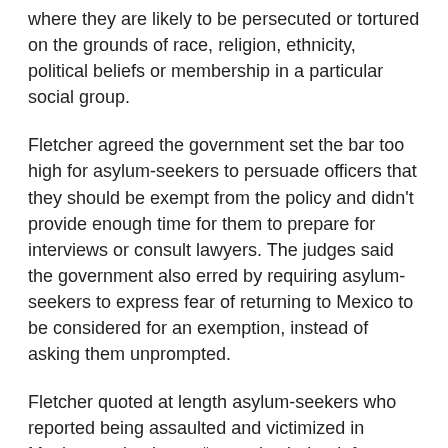where they are likely to be persecuted or tortured on the grounds of race, religion, ethnicity, political beliefs or membership in a particular social group.
Fletcher agreed the government set the bar too high for asylum-seekers to persuade officers that they should be exempt from the policy and didn't provide enough time for them to prepare for interviews or consult lawyers. The judges said the government also erred by requiring asylum-seekers to express fear of returning to Mexico to be considered for an exemption, instead of asking them unprompted.
Fletcher quoted at length asylum-seekers who reported being assaulted and victimized in Mexico, saying it was “enough—indeed, far more than enough” to undercut the government’s arguments.